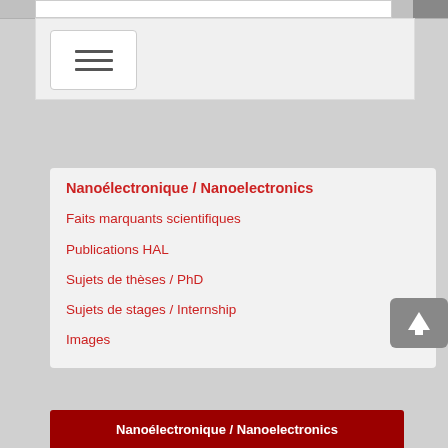[Figure (screenshot): Navigation hamburger menu button with three horizontal lines]
Nanoélectronique / Nanoelectronics
Faits marquants scientifiques
Publications HAL
Sujets de thèses / PhD
Sujets de stages / Internship
Images
Nanoélectronique / Nanoelectronics